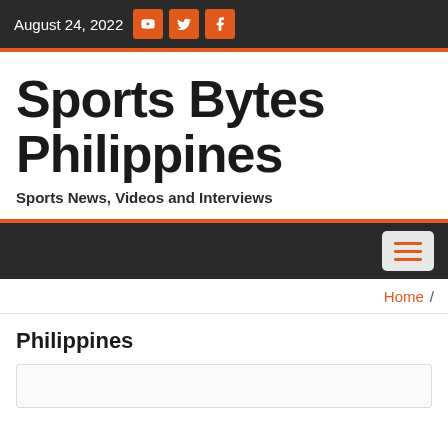August 24, 2022
Sports Bytes Philippines
Sports News, Videos and Interviews
Home /
Philippines